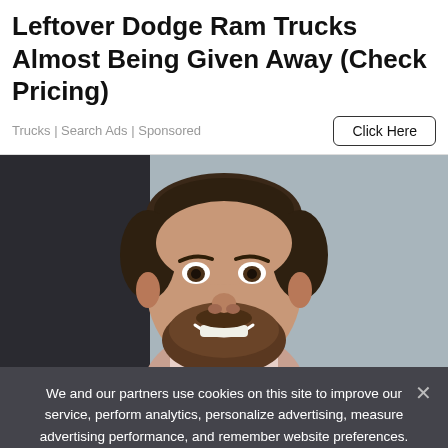Leftover Dodge Ram Trucks Almost Being Given Away (Check Pricing)
Trucks | Search Ads | Sponsored
[Figure (photo): Smiling man with beard and dark hair, photographed from shoulders up against a blurred light grey/blue background]
We and our partners use cookies on this site to improve our service, perform analytics, personalize advertising, measure advertising performance, and remember website preferences.
Ok